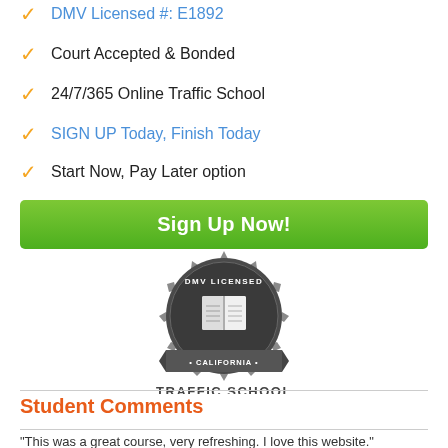DMV Licensed #: E1892
Court Accepted & Bonded
24/7/365 Online Traffic School
SIGN UP Today, Finish Today
Start Now, Pay Later option
Sign Up Now!
[Figure (logo): DMV Licensed California Traffic School badge/seal in grey tones with an open book in the center]
Student Comments
"This was a great course, very refreshing. I love this website."
Dakota F., Santa Cruz, California